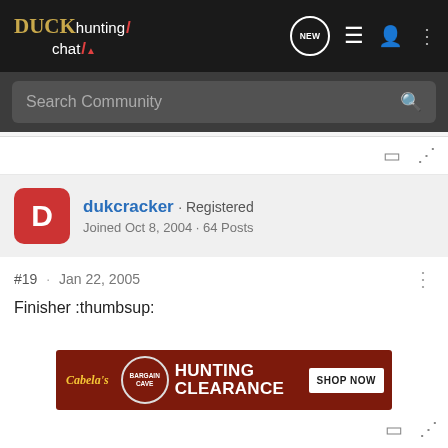Duck hunting chat - NEW - navigation icons
Search Community
dukcracker · Registered
Joined Oct 8, 2004 · 64 Posts
#19 · Jan 22, 2005
Finisher :thumbsup:
[Figure (infographic): Cabela's Bargain Cave - HUNTING CLEARANCE - SHOP NOW advertisement banner]
bookmark and share icons